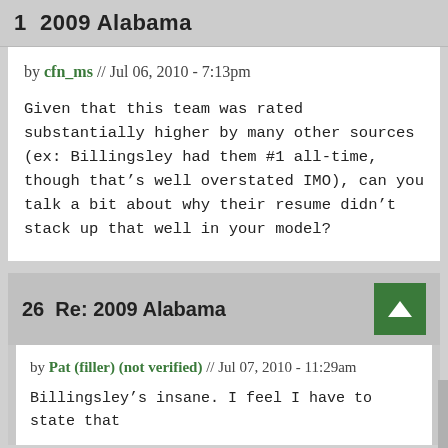1  2009 Alabama
by cfn_ms // Jul 06, 2010 - 7:13pm
Given that this team was rated substantially higher by many other sources (ex: Billingsley had them #1 all-time, though that’s well overstated IMO), can you talk a bit about why their resume didn’t stack up that well in your model?
26  Re: 2009 Alabama
by Pat (filler) (not verified) // Jul 07, 2010 - 11:29am
Billingsley’s insane. I feel I have to state that